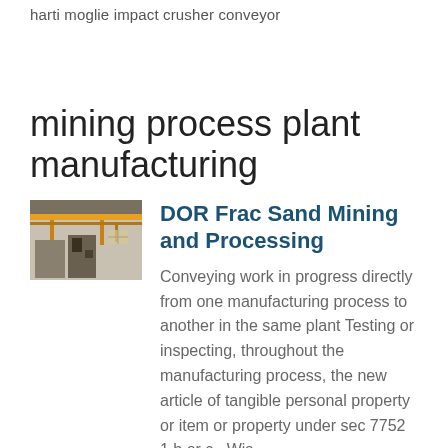harti moglie impact crusher conveyor
mining process plant manufacturing
[Figure (photo): Industrial factory interior with overhead crane and machinery]
DOR Frac Sand Mining and Processing
Conveying work in progress directly from one manufacturing process to another in the same plant Testing or inspecting, throughout the manufacturing process, the new article of tangible personal property or item or property under sec 7752 1 b or c , Wis